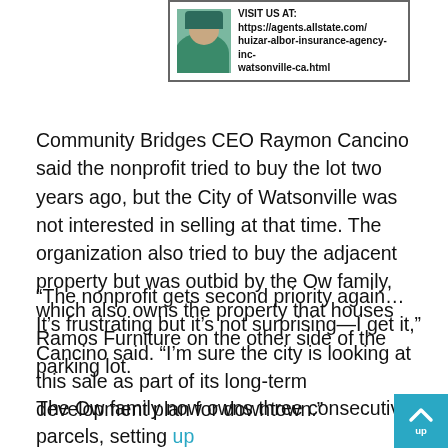[Figure (other): Advertisement box with a photo of a person and text: VISIT US AT: https://agents.allstate.com/huizar-albor-insurance-agency-inc-watsonville-ca.html]
Community Bridges CEO Raymon Cancino said the nonprofit tried to buy the lot two years ago, but the City of Watsonville was not interested in selling at that time. The organization also tried to buy the adjacent property but was outbid by the Ow family, which also owns the property that houses Ramos Furniture on the other side of the parking lot.
“The nonprofit gets second priority again…It’s frustrating but it’s not surprising—I get it,” Cancino said. “I’m sure the city is looking at this sale as part of its long-term development plan for downtown.”
The Ow family now owns three consecutive parcels, setting the possibility of a large-scale redevelopment near the